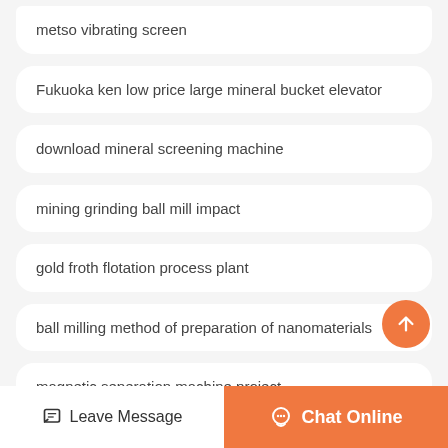metso vibrating screen
Fukuoka ken low price large mineral bucket elevator
download mineral screening machine
mining grinding ball mill impact
gold froth flotation process plant
ball milling method of preparation of nanomaterials
magnetic seperation machine project
Leave Message  Chat Online